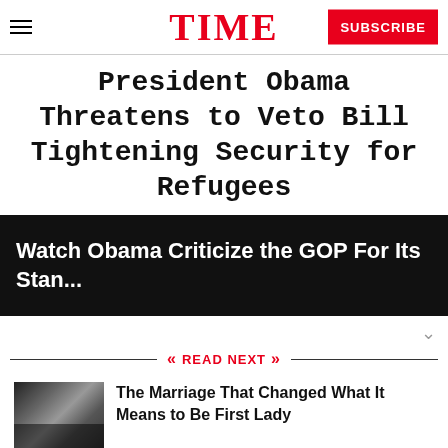TIME — SUBSCRIBE
President Obama Threatens to Veto Bill Tightening Security for Refugees
Watch Obama Criticize the GOP For Its Stan...
READ NEXT
The Marriage That Changed What It Means to Be First Lady